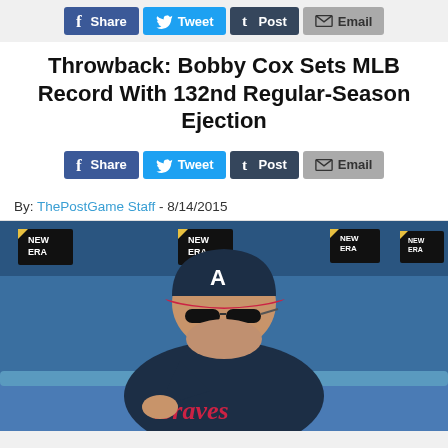[Figure (infographic): Social sharing buttons row: Facebook Share, Twitter Tweet, Tumblr Post, Email]
Throwback: Bobby Cox Sets MLB Record With 132nd Regular-Season Ejection
[Figure (infographic): Social sharing buttons row: Facebook Share, Twitter Tweet, Tumblr Post, Email]
By: ThePostGame Staff - 8/14/2015
[Figure (photo): Bobby Cox, wearing an Atlanta Braves navy uniform and navy cap with red brim and Braves 'A' logo, sitting in the dugout wearing sunglasses, looking down, signing something. New Era logos visible in background.]